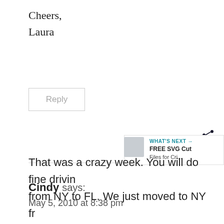Cheers,
Laura
Reply
Cindy says:
May 5, 2010 at 8:38 pm
That was a crazy week. You will do fine drivin from NY to FL. We just moved to NY from MN and we had to drive with our 3 and 1. and they did great. And last summer we took a ro ts, and th er